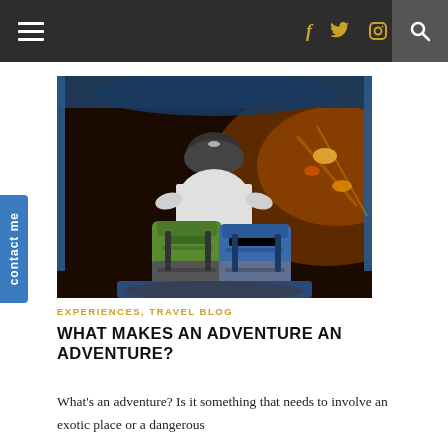Navigation bar with hamburger menu, social icons (f, Twitter, Instagram), and search
[Figure (photo): Night photo taken from inside a tuk-tuk or similar vehicle, showing a person wearing a helmet and white shirt driving, with two large backpacks (green and blue) in front, blue frame structure overhead, city lights blurred in background]
EXPERIENCES, TRAVEL BLOG
WHAT MAKES AN ADVENTURE AN ADVENTURE?
What's an adventure? Is it something that needs to involve an exotic place or a dangerous